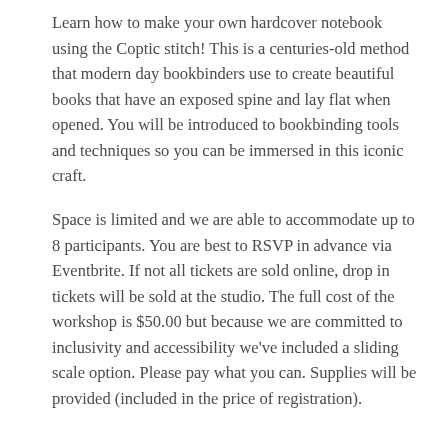Learn how to make your own hardcover notebook using the Coptic stitch! This is a centuries-old method that modern day bookbinders use to create beautiful books that have an exposed spine and lay flat when opened. You will be introduced to bookbinding tools and techniques so you can be immersed in this iconic craft.
Space is limited and we are able to accommodate up to 8 participants. You are best to RSVP in advance via Eventbrite. If not all tickets are sold online, drop in tickets will be sold at the studio. The full cost of the workshop is $50.00 but because we are committed to inclusivity and accessibility we've included a sliding scale option. Please pay what you can. Supplies will be provided (included in the price of registration).